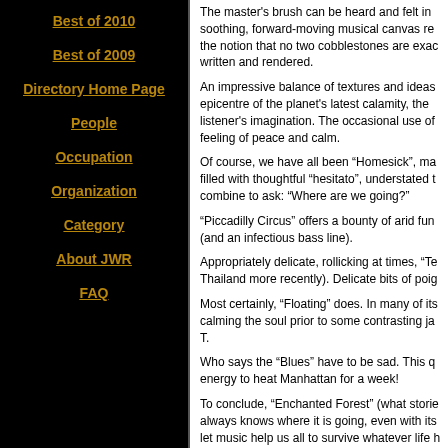Best of 2010
Best of 2009
Directory Home Page
People
Occupation
Organization
Category
About JWR
FAQ
The master's brush can be heard and felt in soothing, forward-moving musical canvas re the notion that no two cobblestones are exac written and rendered.
An impressive balance of textures and ideas epicentre of the planet's latest calamity, the listener's imagination. The occasional use of feeling of peace and calm.
Of course, we have all been “Homesick”, ma filled with thoughtful “hesitato”, understated t combine to ask: “Where are we going?”
“Piccadilly Circus” offers a bounty of arid fun (and an infectious bass line).
Appropriately delicate, rollicking at times, “Te Thailand more recently). Delicate bits of poig
Most certainly, “Floating” does. In many of its calming the soul prior to some contrasting ja T.
Who says the “Blues” have to be sad. This q energy to heat Manhattan for a week!
To conclude, “Enchanted Forest” (what storie always knows where it is going, even with its let music help us all to survive whatever life h
Merci mille fois. JWR